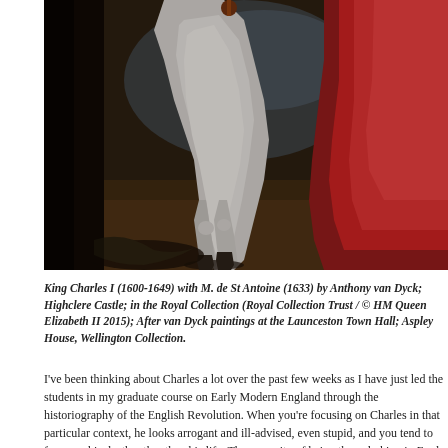[Figure (photo): Detail of a painting showing legs of a white horse and a figure in red clothing, dark background – portion of 'King Charles I (1600-1649) with M. de St Antoine (1633)' by Anthony van Dyck.]
King Charles I (1600-1649) with M. de St Antoine (1633) by Anthony van Dyck; Highclere Castle; in the Royal Collection (Royal Collection Trust / © HM Queen Elizabeth II 2015); After van Dyck paintings at the Launceston Town Hall; Aspley House, Wellington Collection.
I've been thinking about Charles a lot over the past few weeks as I have just led the students in my graduate course on Early Modern England through the historiography of the English Revolution. When you're focusing on Charles in that particular context, he looks arrogant and ill-advised, even stupid, and you tend to focus on his death rather than his life. The enormity of being the only king in Engl